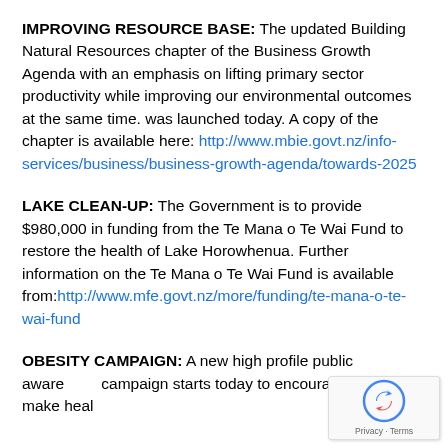IMPROVING RESOURCE BASE: The updated Building Natural Resources chapter of the Business Growth Agenda with an emphasis on lifting primary sector productivity while improving our environmental outcomes at the same time. was launched today. A copy of the chapter is available here: http://www.mbie.govt.nz/info-services/business/business-growth-agenda/towards-2025
LAKE CLEAN-UP: The Government is to provide $980,000 in funding from the Te Mana o Te Wai Fund to restore the health of Lake Horowhenua. Further information on the Te Mana o Te Wai Fund is available from:http://www.mfe.govt.nz/more/funding/te-mana-o-te-wai-fund
OBESITY CAMPAIGN: A new high profile public awareness campaign starts today to encourage people to make healthy